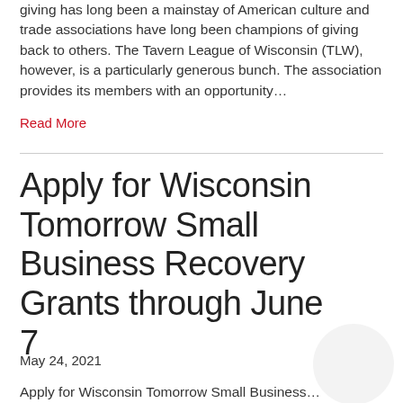giving has long been a mainstay of American culture and trade associations have long been champions of giving back to others. The Tavern League of Wisconsin (TLW), however, is a particularly generous bunch. The association provides its members with an opportunity…
Read More
Apply for Wisconsin Tomorrow Small Business Recovery Grants through June 7
May 24, 2021
Apply for Wisconsin Tomorrow Small Business…